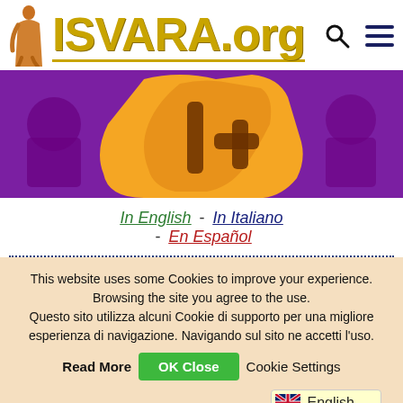[Figure (logo): ISVARA.org website header with monk figure silhouette and gold text logo, plus search and hamburger menu icons]
[Figure (illustration): Website banner with purple background and orange/gold hand shape, decorative characters in background]
In English - In Italiano - En Español
This website uses some Cookies to improve your experience. Browsing the site you agree to the use. Questo sito utilizza alcuni Cookie di supporto per una migliore esperienza di navigazione. Navigando sul sito ne accetti l'uso.
Read More  OK Close  Cookie Settings
English